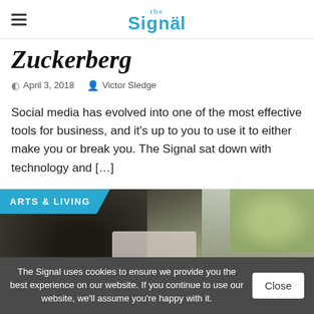the Signal
Zuckerberg
April 3, 2018   Victor Sledge
Social media has evolved into one of the most effective tools for business, and it's up to you to use it to either make you or break you. The Signal sat down with technology and […]
[Figure (photo): Students gathered outdoors doing an activity, possibly gardening or a community project. A badge reading ARTS & LIVING overlays the top-left of the image.]
The Signal uses cookies to ensure we provide you the best experience on our website. If you continue to use our website, we'll assume you're happy with it.